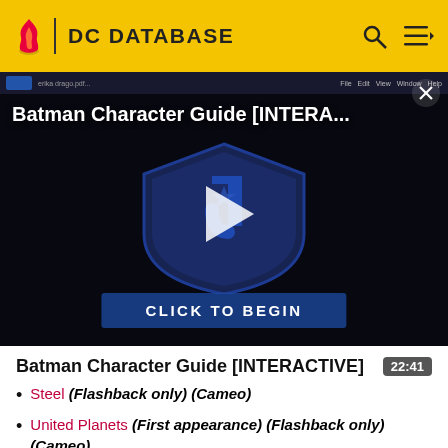DC DATABASE
[Figure (screenshot): Batman Character Guide [INTERA...] video thumbnail with play button and CLICK TO BEGIN button, showing DC/Justice League shield logo on dark background]
Batman Character Guide [INTERACTIVE]
22:41
Steel (Flashback only) (Cameo)
United Planets (First appearance) (Flashback only) (Cameo)
Amistad Ervin (Mentioned only)